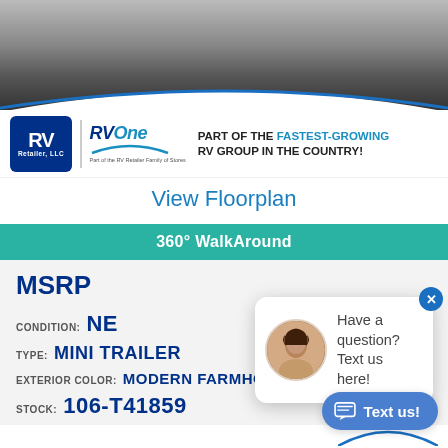[Figure (photo): Top banner photo showing an RV exterior, partially visible, with a curved blue arc at the bottom edge]
[Figure (logo): RV Retailer LLC logo (navy blue square with RV text) next to RV One Superstores logo with arc swoosh, and tagline PART OF THE FASTEST-GROWING RV GROUP IN THE COUNTRY!]
View Floorplan
360° WalkAround
MSRP
CONDITION: NEW
TYPE: MINI TRAILER
EXTERIOR COLOR: MODERN FARMHOUSE
STOCK: 106-T41859
[Figure (screenshot): Chat popup overlay with circular avatar of a woman and text 'Have a question? Text us here!' with a close X button and a blue 'Text us!' pill button]